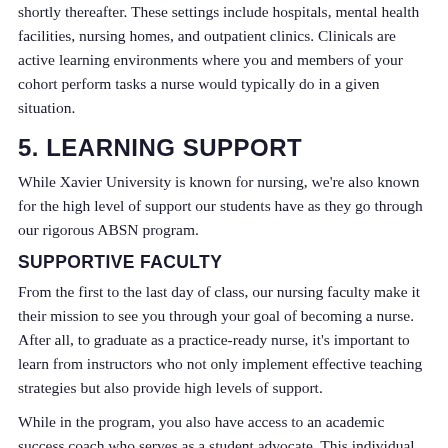shortly thereafter. These settings include hospitals, mental health facilities, nursing homes, and outpatient clinics. Clinicals are active learning environments where you and members of your cohort perform tasks a nurse would typically do in a given situation.
5. LEARNING SUPPORT
While Xavier University is known for nursing, we're also known for the high level of support our students have as they go through our rigorous ABSN program.
SUPPORTIVE FACULTY
From the first to the last day of class, our nursing faculty make it their mission to see you through your goal of becoming a nurse. After all, to graduate as a practice-ready nurse, it's important to learn from instructors who not only implement effective teaching strategies but also provide high levels of support.
While in the program, you also have access to an academic success coach who serves as a student advocate. This individual can connect you with a variety of resources to enhance your overall